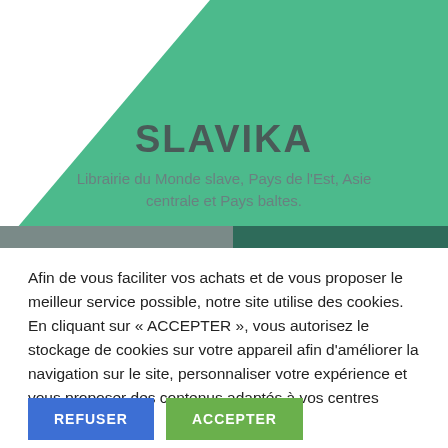[Figure (illustration): Green header background with white triangular shape on the left, Slavika brand logo area with dark horizontal bars at the bottom]
SLAVIKA
Librairie du Monde slave, Pays de l'Est, Asie centrale et Pays baltes.
Afin de vous faciliter vos achats et de vous proposer le meilleur service possible, notre site utilise des cookies. En cliquant sur « ACCEPTER », vous autorisez le stockage de cookies sur votre appareil afin d'améliorer la navigation sur le site, personnaliser votre expérience et vous proposer des contenus adaptés à vos centres d'intérêts.
REFUSER
ACCEPTER